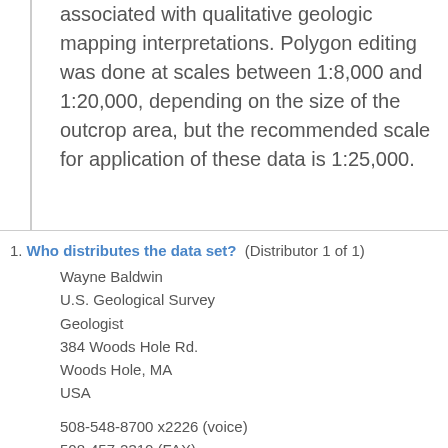associated with qualitative geologic mapping interpretations. Polygon editing was done at scales between 1:8,000 and 1:20,000, depending on the size of the outcrop area, but the recommended scale for application of these data is 1:25,000.
1. Who distributes the data set? (Distributor 1 of 1)
Wayne Baldwin
U.S. Geological Survey
Geologist
384 Woods Hole Rd.
Woods Hole, MA
USA

508-548-8700 x2226 (voice)
508-457-2310 (FAX)
wbaldwin@usgs.gov